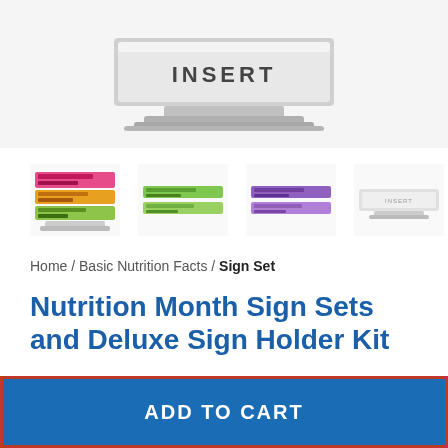[Figure (photo): Product photo of a deluxe sign holder kit with 'INSERT' text visible on the top portion, shown at an angle against a light background.]
[Figure (photo): Four thumbnail images showing different sign sets: a colorful stacked set, two-strip green/floral sets, two-strip purple sets, and a plain white sign holder.]
Home / Basic Nutrition Facts / Sign Set
Nutrition Month Sign Sets and Deluxe Sign Holder Kit
$99.95
ADD TO CART